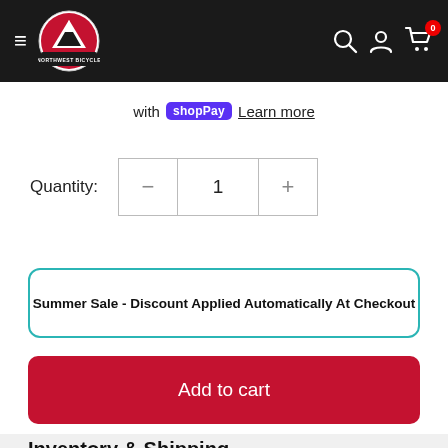[Figure (screenshot): Northwest Bicycle logo — circular badge with red mountain peak and white text 'NORTHWEST BICYCLE' on dark background]
Northwest Bicycle navigation bar with hamburger menu, logo, search, account, and cart (0) icons
with shop Pay   Learn more
Quantity:  −  1  +
Summer Sale - Discount Applied Automatically At Checkout
Add to cart
Inventory & Shipping